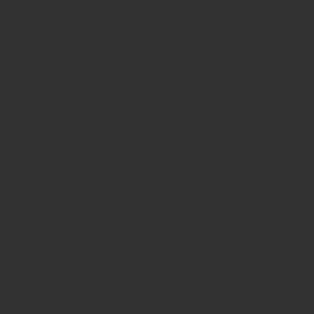[Figure (screenshot): Dark-themed website grid of content cards. Left panel is a dark sidebar. Right area shows a 2-column card grid.]
Sat, 10/20/2012 - 23:57
Antonio Cabral Filho
Term: Photojournalism
Comments: 0
Views: 950
Sun, 10/14/20...
Antonio Cabr...
Term: Photoj...
Comm...
Views:...
ANTONIO CANDEIA FILHO,...
AS TR... COLETÂNE...
Sun, 10/14/2012 - 02:29
Antonio Cabral Filho
Term: Photojournalism
Comments: 0
Views: 1.379
Tue, 10/09/20...
Antonio Cabr...
Term: Photoj...
Comm...
Views:...
SAIS * ROGERIO SALGADO...
REVIS... POETIZAN...